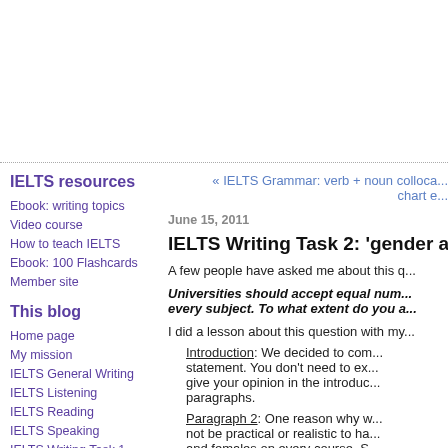« IELTS Grammar: verb + noun colloca... chart e...
June 15, 2011
IELTS Writing Task 2: 'gender a...
IELTS resources
Ebook: writing topics
Video course
How to teach IELTS
Ebook: 100 Flashcards
Member site
This blog
Home page
My mission
IELTS General Writing
IELTS Listening
IELTS Reading
IELTS Speaking
IELTS Writing Task 1
A few people have asked me about this q...
Universities should accept equal num... every subject. To what extent do you a...
I did a lesson about this question with my...
Introduction: We decided to com... statement. You don't need to ex... give your opinion in the introduc... paragraphs.
Paragraph 2: One reason why w... not be practical or realistic to ha... and females on every course. S...